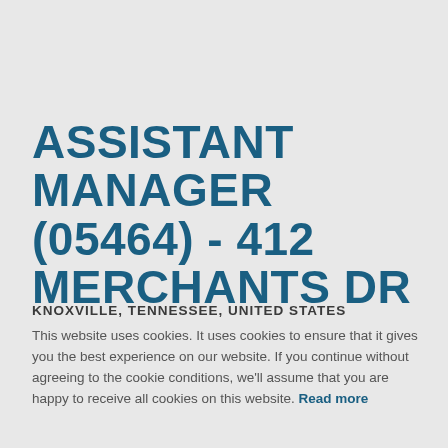ASSISTANT MANAGER (05464)  -  412 MERCHANTS DR
KNOXVILLE, TENNESSEE, UNITED STATES
This website uses cookies. It uses cookies to ensure that it gives you the best experience on our website. If you continue without agreeing to the cookie conditions, we'll assume that you are happy to receive all cookies on this website. Read more
CONTINUE